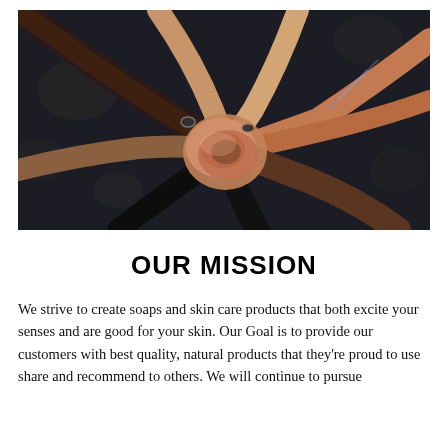[Figure (photo): Overhead view of a diverse group of people stacking their hands together in the center, symbolizing teamwork and unity. The background is dark/grey.]
OUR MISSION
We strive to create soaps and skin care products that both excite your senses and are good for your skin. Our Goal is to provide our customers with best quality, natural products that they're proud to use share and recommend to others. We will continue to pursue this...